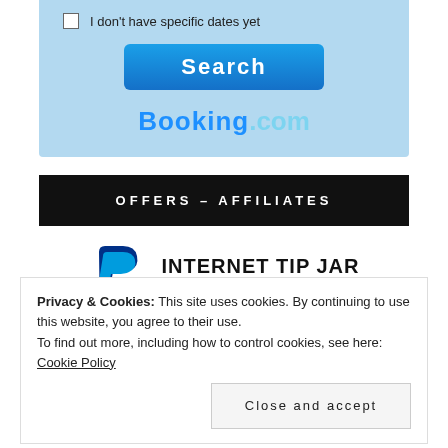[Figure (screenshot): Booking.com search widget with checkbox 'I don't have specific dates yet', a blue Search button, and the Booking.com logo on a light blue background]
OFFERS – AFFILIATES
[Figure (logo): PayPal logo with 'INTERNET TIP JAR' and 'Buy me a latte?' text]
Privacy & Cookies: This site uses cookies. By continuing to use this website, you agree to their use. To find out more, including how to control cookies, see here: Cookie Policy
Close and accept